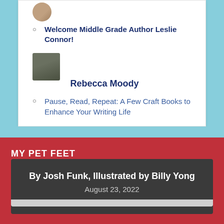[Figure (photo): Small circular avatar photo of a person, partially cropped at top]
Welcome Middle Grade Author Leslie Connor!
[Figure (photo): Square avatar photo of Rebecca Moody, a person with shoulder-length dark hair]
Rebecca Moody
Pause, Read, Repeat: A Few Craft Books to Enhance Your Writing Life
MY PET FEET
By Josh Funk, Illustrated by Billy Yong
August 23, 2022